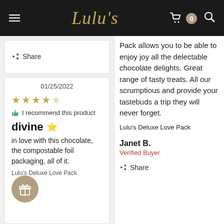Lulu's
Share
01/25/2022
★★★★★ (4.5 stars)
I recommend this product
divine
in love with this chocolate, the compostable foil packaging, all of it. Lulu's Deluxe Love Pack
Pack allows you to be able to enjoy joy all the delectable chocolate delights. Great range of tasty treats. All our scrumptious and provide your tastebuds a trip they will never forget. Lulu's Deluxe Love Pack
Janet B.
Verified Buyer
Share